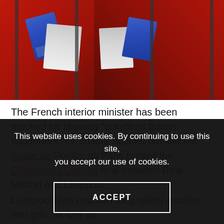[Figure (photo): Liverpool fans in red jackets holding Champions League match tickets and printed receipts, standing behind metal bars/gates outside the Stade de France in Paris.]
The French interior minister has been mocked for blaming "ticketless British supporters" for chaotic scenes outside the Stade de France as Paris hosted the Champions League final between Real Madrid and Liverpool.
Liverpool fans endured long waits, crushes, tear gas, as well as
This website uses cookies. By continuing to use this site, you accept our use of cookies.
ACCEPT